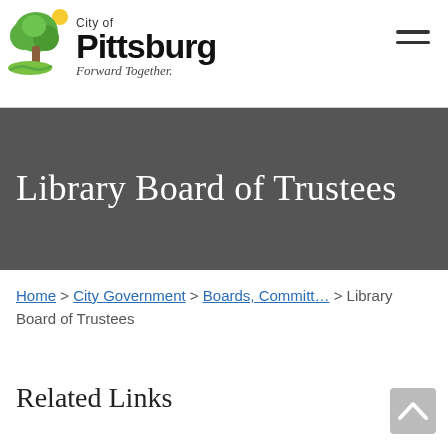[Figure (logo): City of Pittsburg logo with tree graphic, text 'City of Pittsburg Forward Together.']
Library Board of Trustees
Home > City Government > Boards, Committ... > Library Board of Trustees
Related Links